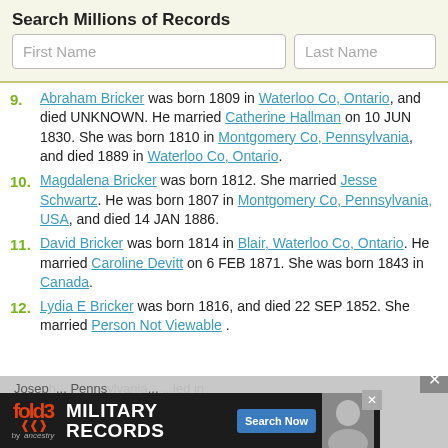Search Millions of Records
First Name | Last Name (search inputs)
9. Abraham Bricker was born 1809 in Waterloo Co, Ontario, and died UNKNOWN. He married Catherine Hallman on 10 JUN 1830. She was born 1810 in Montgomery Co, Pennsylvania, and died 1889 in Waterloo Co, Ontario.
10. Magdalena Bricker was born 1812. She married Jesse Schwartz. He was born 1807 in Montgomery Co, Pennsylvania, USA, and died 14 JAN 1886.
11. David Bricker was born 1814 in Blair, Waterloo Co, Ontario. He married Caroline Devitt on 6 FEB 1871. She was born 1843 in Canada.
12. Lydia E Bricker was born 1816, and died 22 SEP 1852. She married Person Not Viewable.
Joseph... Pennsylvania... ...ied in Plain M...